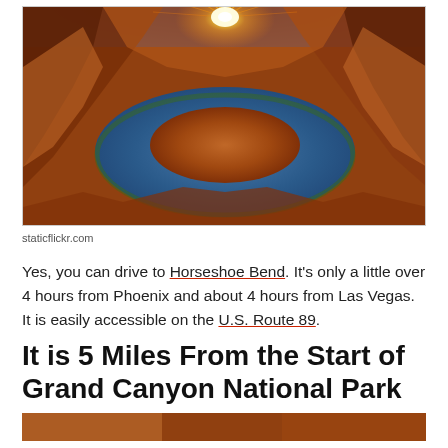[Figure (photo): Aerial/wide-angle photo of Horseshoe Bend canyon showing the Colorado River making a horseshoe curve around red rock formations, with a bright sunburst at the top center and vivid orange-red canyon walls on the sides.]
staticflickr.com
Yes, you can drive to Horseshoe Bend. It's only a little over 4 hours from Phoenix and about 4 hours from Las Vegas. It is easily accessible on the U.S. Route 89.
It is 5 Miles From the Start of Grand Canyon National Park
[Figure (photo): Partial view of another canyon/nature photo at the bottom of the page, cropped.]